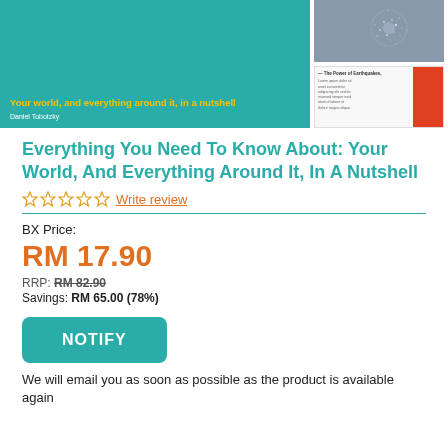[Figure (photo): Book cover: teal background with yellow title text 'Your world, and everything around it, in a nutshell' and author name 'Daniel Tobotzky']
[Figure (photo): Side image top: dark blue/grey starfield or particle cluster image]
[Figure (photo): Side image bottom: document thumbnail showing 'The Power of Earthquakes' text on white with orange accent on right side]
Everything You Need To Know About: Your World, And Everything Around It, In A Nutshell
Write review
BX Price:
RM 17.90
RRP: RM 82.90
Savings: RM 65.00 (78%)
NOTIFY
We will email you as soon as possible as the product is available again